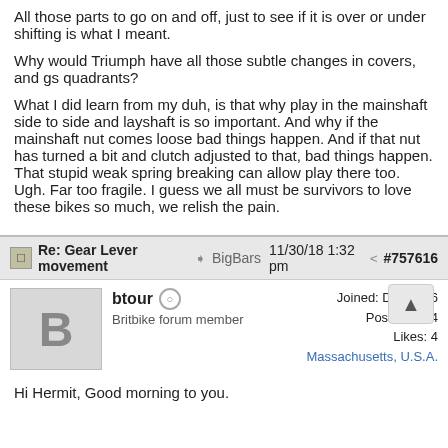All those parts to go on and off, just to see if it is over or under shifting is what I meant.

Why would Triumph have all those subtle changes in covers, and gs quadrants?

What I did learn from my duh, is that why play in the mainshaft side to side and layshaft is so important. And why if the mainshaft nut comes loose bad things happen. And if that nut has turned a bit and clutch adjusted to that, bad things happen. That stupid weak spring breaking can allow play there too. Ugh. Far too fragile. I guess we all must be survivors to love these bikes so much, we relish the pain.
Re: Gear Lever movement → BigBars 11/30/18 1:32 pm #757616
btour  ☺
Britbike forum member
Joined: Dec 2006
Posts: 4,114
Likes: 4
Massachusetts, U.S.A.
Hi Hermit, Good morning to you.